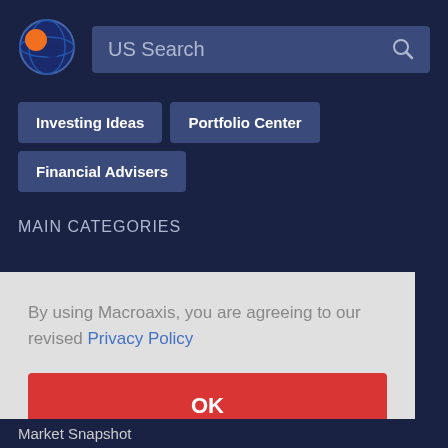[Figure (logo): Macroaxis logo: globe icon with orange and dark blue colors]
US Search
Investing Ideas
Portfolio Center
Financial Advisers
MAIN CATEGORIES
By using Macroaxis, you are agreeing to our revised Privacy Policy
OK
Market Snapshot